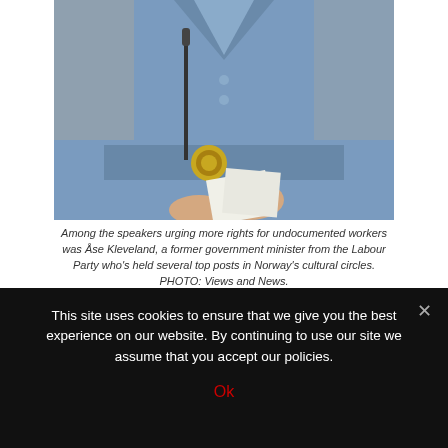[Figure (photo): A woman in a blue jacket and belt with a gold brooch stands at a microphone, holding papers. The image is cropped at the torso level.]
Among the speakers urging more rights for undocumented workers was Åse Kleveland, a former government minister from the Labour Party who's held several top posts in Norway's cultural circles. PHOTO: Views and News.
Protesters, several hundred of whom marched through the
This site uses cookies to ensure that we give you the best experience on our website. By continuing to use our site we assume that you accept our policies.
Ok